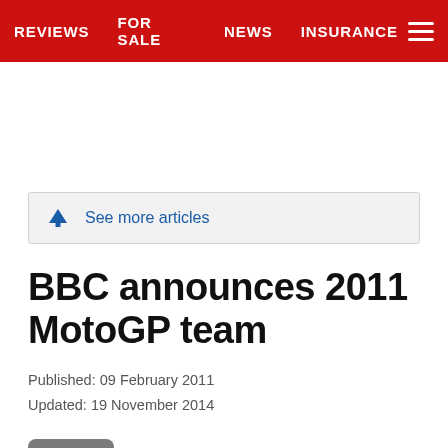REVIEWS   FOR SALE   NEWS   INSURANCE
See more articles
BBC announces 2011 MotoGP team
Published: 09 February 2011
Updated: 19 November 2014
1 of 2